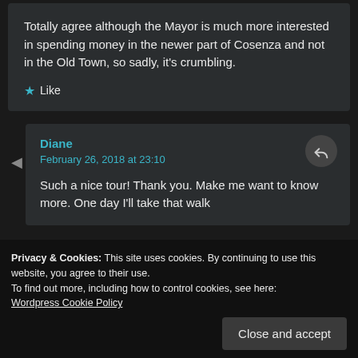Totally agree although the Mayor is much more interested in spending money in the newer part of Cosenza and not in the Old Town, so sadly, it's crumbling.
★ Like
Diane
February 26, 2018 at 23:10
Such a nice tour! Thank you. Make me want to know more. One day I'll take that walk
Privacy & Cookies: This site uses cookies. By continuing to use this website, you agree to their use.
To find out more, including how to control cookies, see here: Wordpress Cookie Policy